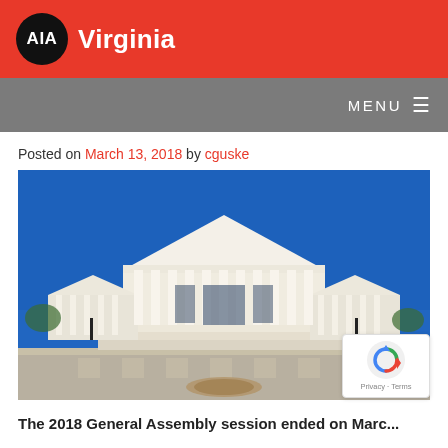AIA Virginia
MENU
Posted on March 13, 2018 by cguske
[Figure (photo): Photograph of the Virginia State Capitol building, a neoclassical white structure with large columns and pediment, flanked by two smaller wings, under a bright blue sky. A decorative compass rose is visible in the foreground plaza.]
The 2018 General Assembly session ended on March...